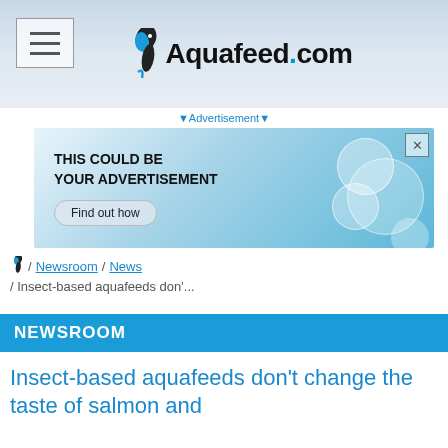Aquafeed.com
[Figure (illustration): Advertisement banner reading THIS COULD BE YOUR ADVERTISEMENT with Find out how button and blue bubble decorations]
▼Advertisement▼
/ Newsroom / News / Insect-based aquafeeds don'...
NEWSROOM
Insect-based aquafeeds don't change the taste of salmon and